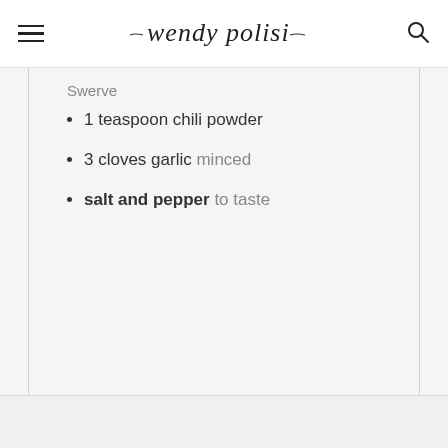wendy polisi
Swerve
1 teaspoon chili powder
3 cloves garlic minced
salt and pepper to taste